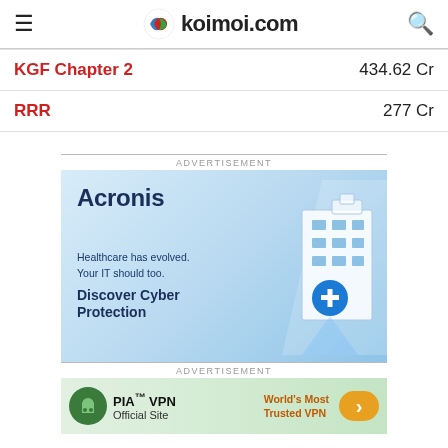koimoi.com
| Movie | Box Office |
| --- | --- |
| KGF Chapter 2 | 434.62 Cr |
| RRR | 277 Cr |
ADVERTISEMENT
[Figure (illustration): Acronis advertisement: Healthcare has evolved. Your IT should too. Discover Cyber Protection. Features a building/hospital illustration on a blue gradient background.]
ADVERTISEMENT
[Figure (illustration): PIA VPN advertisement: PIA™ VPN Official Site. World's Most Trusted VPN. Green background with Private Internet Access logo and orange arrow button.]